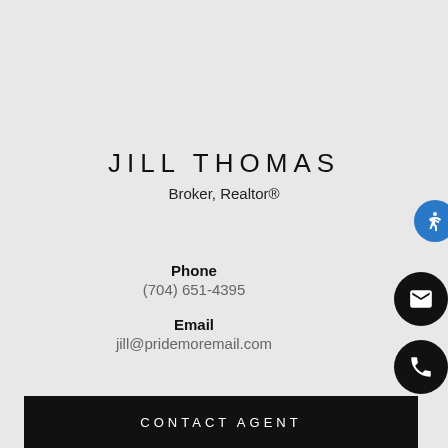JILL THOMAS
Broker, Realtor®
Phone
(704) 651-4395
Email
jill@pridemoremail.com
CONTACT AGENT